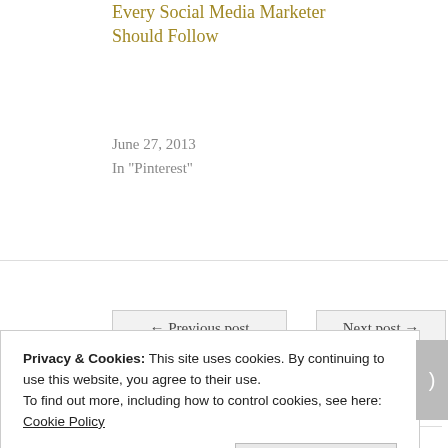Every Social Media Marketer Should Follow
June 27, 2013
In "Pinterest"
← Previous post
Next post →
LEAVE A REPLY
Privacy & Cookies: This site uses cookies. By continuing to use this website, you agree to their use.
To find out more, including how to control cookies, see here: Cookie Policy
Close and accept